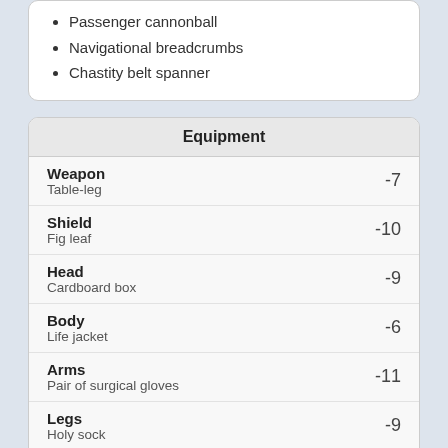Passenger cannonball
Navigational breadcrumbs
Chastity belt spanner
| Equipment |  |  |
| --- | --- | --- |
| Weapon
Table-leg |  | -7 |
| Shield
Fig leaf |  | -10 |
| Head
Cardboard box |  | -9 |
| Body
Life jacket |  | -6 |
| Arms
Pair of surgical gloves |  | -11 |
| Legs
Holy sock |  | -9 |
| Talisman
Four-leafed burdock |  | -6 |
The difference in Godville is that you, the player, now